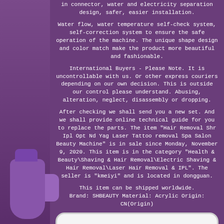in connector, water and electricity separation design, safer, easier installation.
Water flow, water temperature self-check system, self-correction system to ensure the safe operation of the machine. The unique shape design and color match make the product more beautiful and fashionable.
International Buyers - Please Note. It is uncontrollable with us. Or other express couriers depending on our own decision. This is outside our control please understand. Abusing, alteration, neglect, disassembly or dropping.
After checking we shall send you a new set. And we shall provide online technical guide for you to replace the parts. The item "Hair Removal Shr Ipl Opt Nd Yag Laser Tattoo removal Spa Salon Beauty Machine" is in sale since Monday, November 9, 2020. This item is in the category "Health & Beauty\Shaving & Hair Removal\Electric Shaving & Hair Removal\Laser Hair Removal & IPL". The seller is "kmeiyi" and is located in dongguan.
This item can be shipped worldwide. Brand: SHBEAUTY Material: Acrylic Origin: CN(Origin)
[Figure (other): More Information button with eBay branding, white rounded rectangle button on purple background]